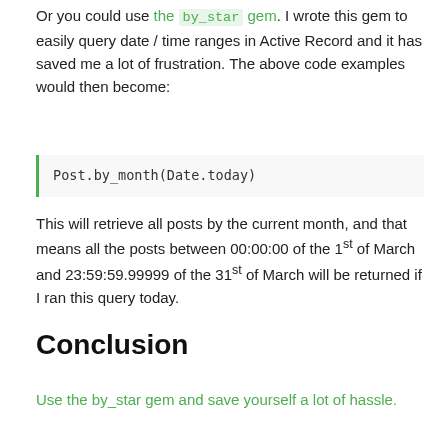Or you could use the by_star gem. I wrote this gem to easily query date / time ranges in Active Record and it has saved me a lot of frustration. The above code examples would then become:
Post.by_month(Date.today)
This will retrieve all posts by the current month, and that means all the posts between 00:00:00 of the 1st of March and 23:59:59.99999 of the 31st of March will be returned if I ran this query today.
Conclusion
Use the by_star gem and save yourself a lot of hassle.